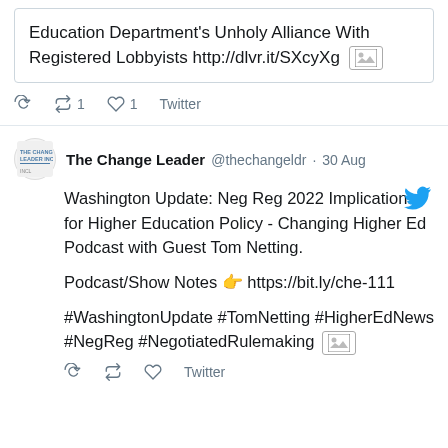Education Department's Unholy Alliance With Registered Lobbyists http://dlvr.it/SXcyXg [image]
Reply  Retweet 1  Like 1  Twitter
The Change Leader @thechangeldr · 30 Aug
Washington Update: Neg Reg 2022 Implications for Higher Education Policy - Changing Higher Ed Podcast with Guest Tom Netting.

Podcast/Show Notes 👉 https://bit.ly/che-111

#WashingtonUpdate #TomNetting #HigherEdNews #NegReg #NegotiatedRulemaking [image]
Reply  Retweet  Like  Twitter